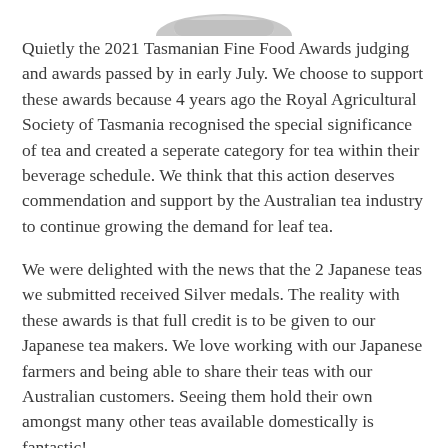[Figure (logo): Partial logo/illustration visible at the top of the page, grey silhouette shape]
Quietly the 2021 Tasmanian Fine Food Awards judging and awards passed by in early July. We choose to support these awards because 4 years ago the Royal Agricultural Society of Tasmania recognised the special significance of tea and created a seperate category for tea within their beverage schedule. We think that this action deserves commendation and support by the Australian tea industry to continue growing the demand for leaf tea.
We were delighted with the news that the 2 Japanese teas we submitted received Silver medals. The reality with these awards is that full credit is to be given to our Japanese tea makers. We love working with our Japanese farmers and being able to share their teas with our Australian customers. Seeing them hold their own amongst many other teas available domestically is fantastic!
Early in The Steepery Tea Co's life we chose to showcase